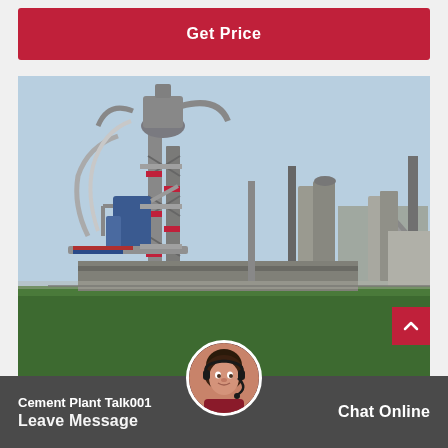Get Price
[Figure (photo): Industrial cement plant facility with tall towers, pipes, conveyor belts, silos, and industrial structures against a blue sky, with a green field in the foreground.]
Cement Plant Talk001
Leave Message
Chat Online